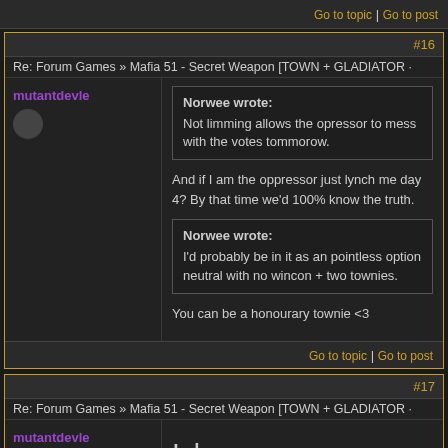Go to topic | Go to post
#16
Re: Forum Games » Mafia 51 - Secret Weapon [TOWN + GLADIATOR
mutantdevle
Norwee wrote:
Not limming allows the opressor to mess with the votes tommorow.
And if I am the oppressor just lynch me day 4? By that time we'd 100% know the truth.
Norwee wrote:
I'd probably be in it as an pointless option neutral with no wincon + two townies.
You can be a honourary townie <3
Go to topic | Go to post
#17
Re: Forum Games » Mafia 51 - Secret Weapon [TOWN + GLADIATOR
mutantdevle
!sleep